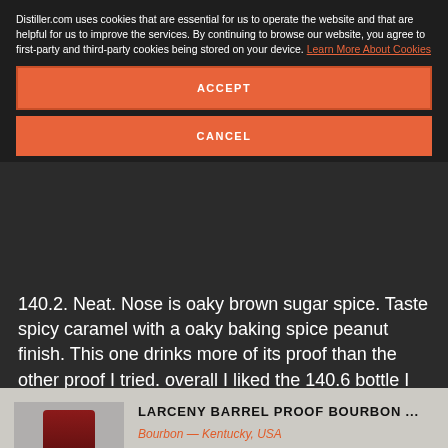Distiller.com uses cookies that are essential for us to operate the website and that are helpful for us to improve the services. By continuing to browse our website, you agree to first-party and third-party cookies being stored on your device. Learn More About Cookies
ACCEPT
CANCEL
140.2. Neat. Nose is oaky brown sugar spice. Taste spicy caramel with a oaky baking spice peanut finish. This one drinks more of its proof than the other proof I tried. overall I liked the 140.6 bottle I tried better.
1 Like
COMMENT
LIKE
SHOW COMMENTS (0)
LARCENY BARREL PROOF BOURBON ...
Bourbon — Kentucky, USA
Tasted January 25, 2022
4.0